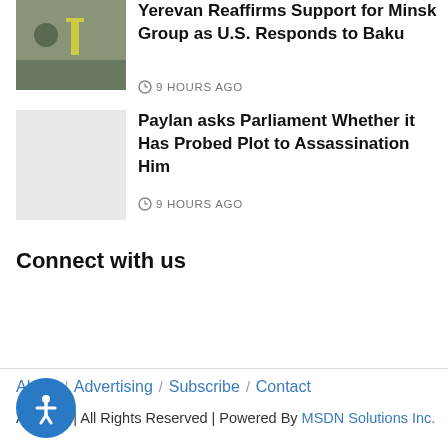[Figure (photo): Thumbnail photo of soldiers/people in a field]
Yerevan Reaffirms Support for Minsk Group as U.S. Responds to Baku
9 HOURS AGO
[Figure (photo): Blank/light gray placeholder thumbnail]
Paylan asks Parliament Whether it Has Probed Plot to Assassination Him
9 HOURS AGO
Connect with us
About / Advertising / Subscribe / Contact
Asbarez | All Rights Reserved | Powered By MSDN Solutions Inc.